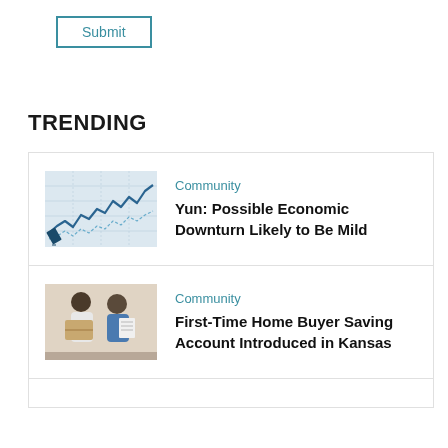Submit
TRENDING
[Figure (screenshot): Line chart image showing market data trends with blue lines on a light background]
Community
Yun: Possible Economic Downturn Likely to Be Mild
[Figure (photo): Photo of two people, a woman and a man, carrying boxes, likely moving into a home]
Community
First-Time Home Buyer Saving Account Introduced in Kansas